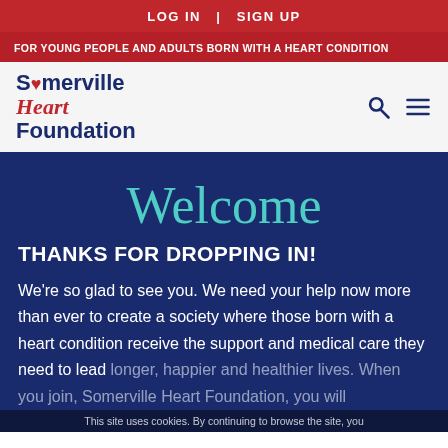LOG IN  |  SIGN UP
FOR YOUNG PEOPLE AND ADULTS BORN WITH A HEART CONDITION
[Figure (logo): Somerville Heart Foundation logo with heart icon replacing the O in Somerville]
Welcome
THANKS FOR DROPPING IN!
We're so glad to see you. We need your help now more than ever to create a society where those born with a heart condition receive the support and medical care they need to lead longer, happier and healthier lives. When you join Somerville Heart Foundation, you will
This site uses cookies. By continuing to browse the site, you